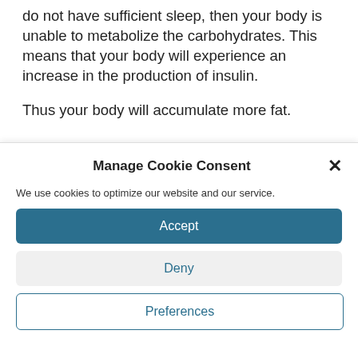do not have sufficient sleep, then your body is unable to metabolize the carbohydrates. This means that your body will experience an increase in the production of insulin.
Thus your body will accumulate more fat.
Manage Cookie Consent
We use cookies to optimize our website and our service.
Accept
Deny
Preferences